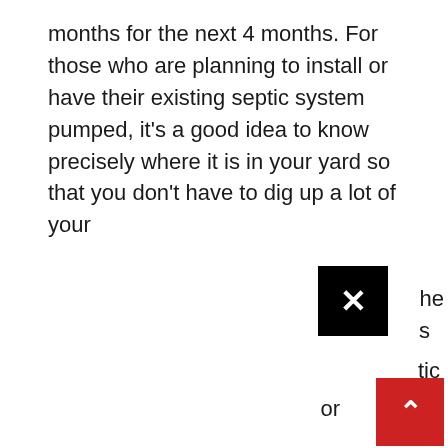months for the next 4 months. For those who are planning to install or have their existing septic system pumped, it's a good idea to know precisely where it is in your yard so that you don't have to dig up a lot of your
[Figure (other): Black close button (X) UI element overlapping text content on the right side of the page]